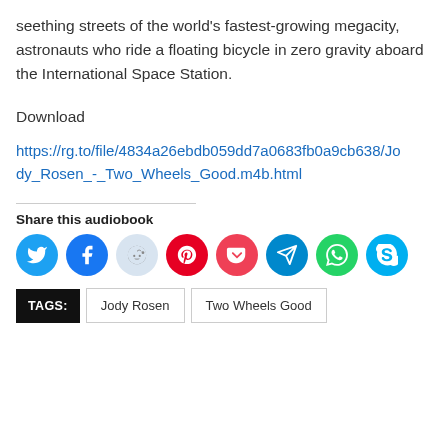seething streets of the world's fastest-growing megacity, astronauts who ride a floating bicycle in zero gravity aboard the International Space Station.
Download
https://rg.to/file/4834a26ebdb059dd7a0683fb0a9cb638/Jody_Rosen_-_Two_Wheels_Good.m4b.html
Share this audiobook
[Figure (infographic): Social sharing icon buttons: Twitter (blue), Facebook (dark blue), Reddit (light blue/gray), Pinterest (red), Pocket (red), Telegram (blue), WhatsApp (green), Skype (light blue)]
TAGS: Jody Rosen  Two Wheels Good